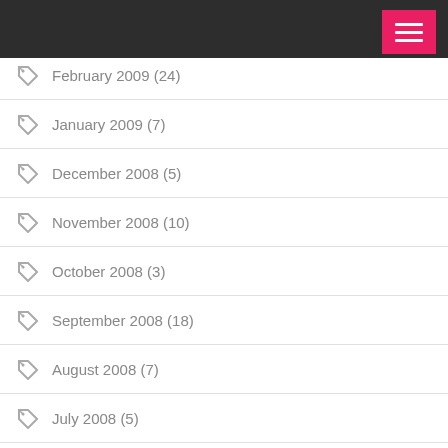February 2009 (24)
January 2009 (7)
December 2008 (5)
November 2008 (10)
October 2008 (3)
September 2008 (18)
August 2008 (7)
July 2008 (5)
June 2008 (4)